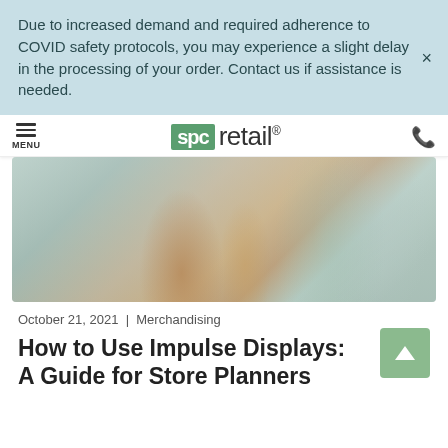Due to increased demand and required adherence to COVID safety protocols, you may experience a slight delay in the processing of your order. Contact us if assistance is needed.
[Figure (logo): SPC Retail logo with green block letters 'spc' and cursive 'retail' with registered trademark symbol]
[Figure (photo): Person carrying multiple shopping bags in a retail store]
October 21, 2021  |  Merchandising
How to Use Impulse Displays: A Guide for Store Planners